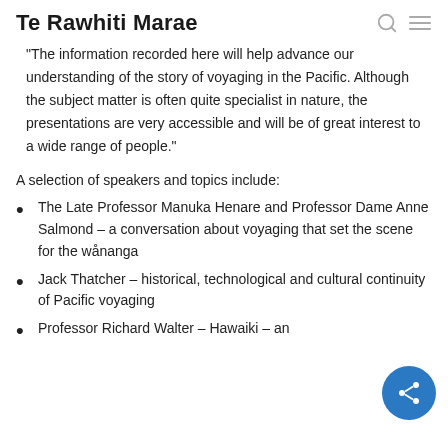Te Rawhiti Marae
“The information recorded here will help advance our understanding of the story of voyaging in the Pacific. Although the subject matter is often quite specialist in nature, the presentations are very accessible and will be of great interest to a wide range of people.”
A selection of speakers and topics include:
The Late Professor Manuka Henare and Professor Dame Anne Salmond – a conversation about voyaging that set the scene for the wånanga
Jack Thatcher – historical, technological and cultural continuity of Pacific voyaging
Professor Richard Walter – Hawaiki – an